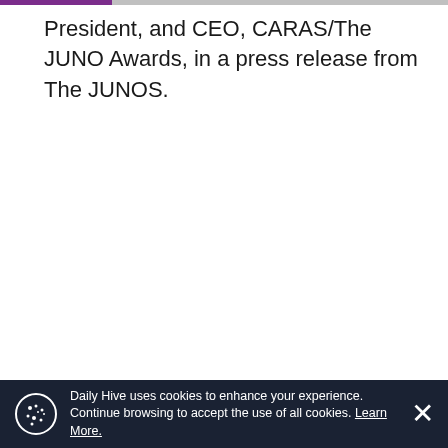President, and CEO, CARAS/The JUNO Awards, in a press release from The JUNOS.
“The city is a unique cultural destination with a
Daily Hive uses cookies to enhance your experience. Continue browsing to accept the use of all cookies. Learn More.